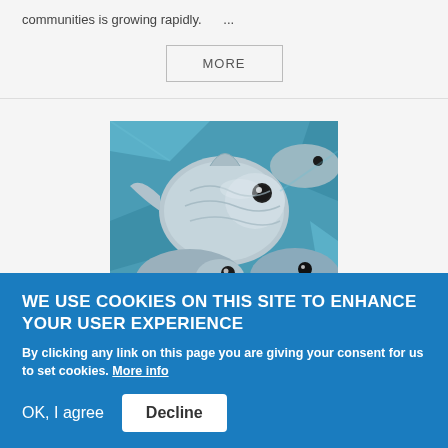communities is growing rapidly.    ...
MORE
[Figure (photo): Close-up photograph of several silver/metallic fish packed together, viewed from above, with a blue-teal toned background.]
WE USE COOKIES ON THIS SITE TO ENHANCE YOUR USER EXPERIENCE
By clicking any link on this page you are giving your consent for us to set cookies. More info
OK, I agree   Decline